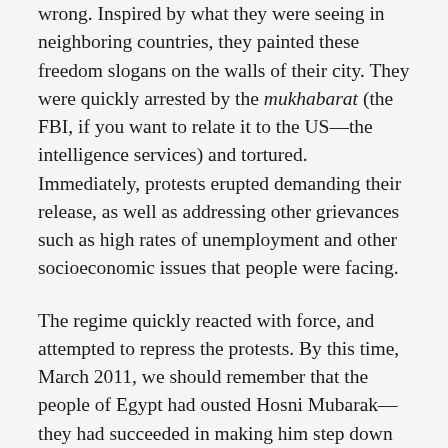wrong. Inspired by what they were seeing in neighboring countries, they painted these freedom slogans on the walls of their city. They were quickly arrested by the mukhabarat (the FBI, if you want to relate it to the US—the intelligence services) and tortured. Immediately, protests erupted demanding their release, as well as addressing other grievances such as high rates of unemployment and other socioeconomic issues that people were facing.
The regime quickly reacted with force, and attempted to repress the protests. By this time, March 2011, we should remember that the people of Egypt had ousted Hosni Mubarak—they had succeeded in making him step down after he had been in power for thirty years. That point was also the beginning of NATO intervention in Libya, where people had risen up against Qaddafi's brutal regime and NATO had decided to intervene due to his brutal response to protests there. The Assad regime was seeing what was